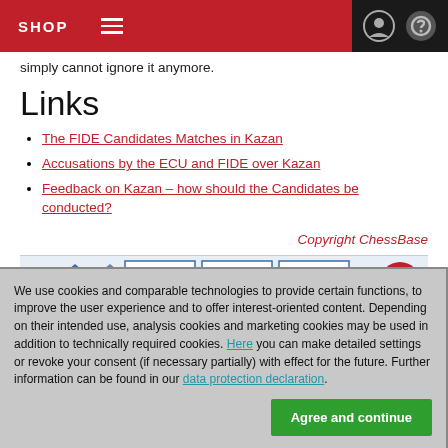SHOP
simply cannot ignore it anymore.
Links
The FIDE Candidates Matches in Kazan
Accusations by the ECU and FIDE over Kazan
Feedback on Kazan – how should the Candidates be conducted?
Copyright ChessBase
[Figure (photo): Fritz product images banner strip]
We use cookies and comparable technologies to provide certain functions, to improve the user experience and to offer interest-oriented content. Depending on their intended use, analysis cookies and marketing cookies may be used in addition to technically required cookies. Here you can make detailed settings or revoke your consent (if necessary partially) with effect for the future. Further information can be found in our data protection declaration.